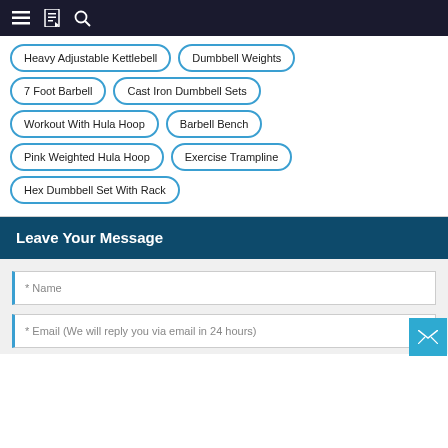Navigation bar with menu, bookmark, and search icons
Heavy Adjustable Kettlebell
Dumbbell Weights
7 Foot Barbell
Cast Iron Dumbbell Sets
Workout With Hula Hoop
Barbell Bench
Pink Weighted Hula Hoop
Exercise Trampline
Hex Dumbbell Set With Rack
Leave Your Message
* Name
* Email (We will reply you via email in 24 hours)